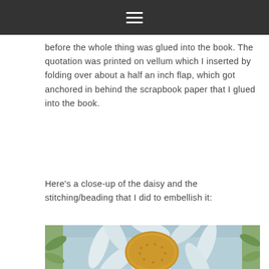≡ (navigation menu icon)
before the whole thing was glued into the book. The quotation was printed on vellum which I inserted by folding over about a half an inch flap, which got anchored in behind the scrapbook paper that I glued into the book.
Here's a close-up of the daisy and the stitching/beading that I did to embellish it:
[Figure (photo): Close-up photograph of a daisy with white petals and a golden-yellow center, with blue background and green leaf border visible, showing stitching/beading embellishment on a scrapbook page.]